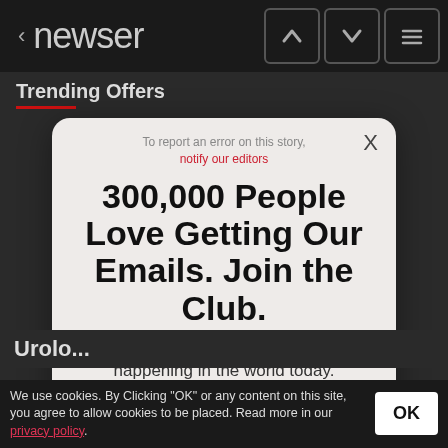< newser
Trending Offers
[Figure (screenshot): Newser email signup modal popup with close button, report error text, headline '300,000 People Love Getting Our Emails. Join the Club.', subtext, email input field, and red SIGN UP button]
To report an error on this story, notify our editors
300,000 People Love Getting Our Emails. Join the Club.
A fast and unbiased roundup of what's happening in the world today.
your email address
SIGN UP
Urolo...
We use cookies. By Clicking "OK" or any content on this site, you agree to allow cookies to be placed. Read more in our privacy policy.